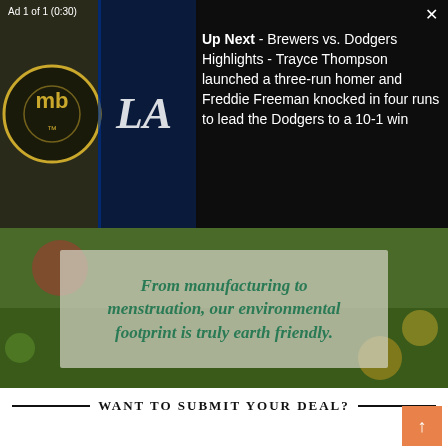Ad 1 of 1 (0:30)
[Figure (screenshot): Video ad overlay showing MLB teams Brewers vs Dodgers logos on dark background with text: Up Next - Brewers vs. Dodgers Highlights - Trayce Thompson launched a three-run homer and Freddie Freeman knocked in four runs to lead the Dodgers to a 10-1 win]
[Figure (photo): Green nature/outdoors background with semi-transparent box containing text: From manufacturing to menstruation, our environmental footprint is truly earth friendly.]
WANT TO SUBMIT YOUR DEAL?
If you want to submit your deal, add this product to your cart and complete the checkout process. You then will be able to submit your deal.
ADD TO CART